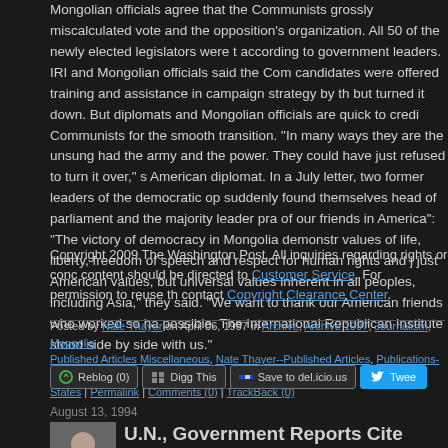Mongolian officials agree that the Communists grossly miscalculated voters and the opposition's organization. All 50 of the newly elected legislators were the opposition, according to government leaders. IRI and Mongolian officials said the Communist candidates were offered training and assistance in campaign strategy by the IRI but turned it down. But diplomats and Mongolian officials are quick to credit the Communists for the smooth transition. "In many ways they are the unsung heroes. They had the army and the power. They could have just refused to turn it over," said one American diplomat. In a July letter, two former leaders of the democratic opposition suddenly found themselves head of parliament and the majority leader praised "the help of our friends in America": "The victory of democracy in Mongolia demonstrates that values of life, liberty, freedom of speech and respect for human rights and justice are not just American values, but universal values inherent in all peoples, including those of Asia," they said. "We want to thank our American friends who worked so hard to make it possible. The International Republican Institute stood side by side with us."
Copyright 2009 The Washington Post. All inquiries regarding rights or concerning this content should be directed to Customer Service. For permission to reuse this content, contact Copyright Clearance Center.
Posted by Nate Thayer on April 06, 1997 in Archive, Archive 1997, Journalism, Mongolia, Published Articles Miscellaneous, Nate Thayer--Published Articles, Publications-Washington States | Permalink | Comments (0) | TrackBack (0)
August 13, 1994
U.N., Government Reports Cite Killings by Cambodian Military Officials